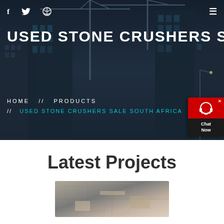[Figure (photo): Hero banner with dark blue construction site background showing cranes and buildings under construction]
f  Twitter  Dribbble  ≡
USED STONE CRUSHERS SALE S
HOME // PRODUCTS
// USED STONE CRUSHERS SALE SOUTH AFRICA
[Figure (other): Chat Now widget with red background and headset icon]
Latest Projects
[Figure (photo): Construction project photo showing industrial structure interior]